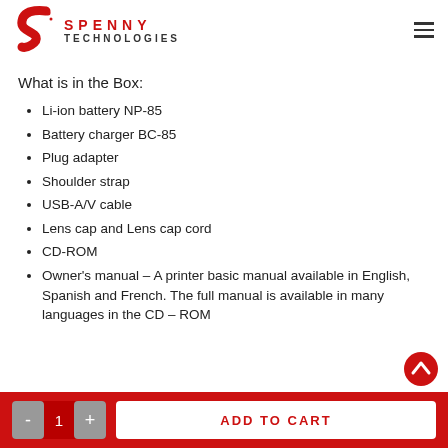SPENNY TECHNOLOGIES
What is in the Box:
Li-ion battery NP-85
Battery charger BC-85
Plug adapter
Shoulder strap
USB-A/V cable
Lens cap and Lens cap cord
CD-ROM
Owner's manual – A printer basic manual available in English, Spanish and French. The full manual is available in many languages in the CD – ROM
ADD TO CART